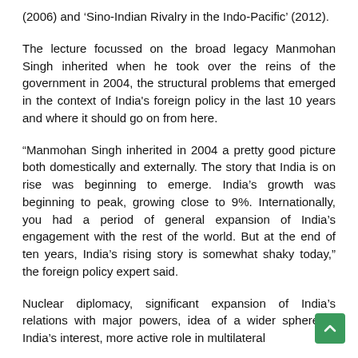(2006) and ‘Sino-Indian Rivalry in the Indo-Pacific’ (2012).
The lecture focussed on the broad legacy Manmohan Singh inherited when he took over the reins of the government in 2004, the structural problems that emerged in the context of India’s foreign policy in the last 10 years and where it should go on from here.
“Manmohan Singh inherited in 2004 a pretty good picture both domestically and externally. The story that India is on rise was beginning to emerge. India’s growth was beginning to peak, growing close to 9%. Internationally, you had a period of general expansion of India’s engagement with the rest of the world. But at the end of ten years, India’s rising story is somewhat shaky today,” the foreign policy expert said.
Nuclear diplomacy, significant expansion of India’s relations with major powers, idea of a wider sphere of India’s interest, more active role in multilateral